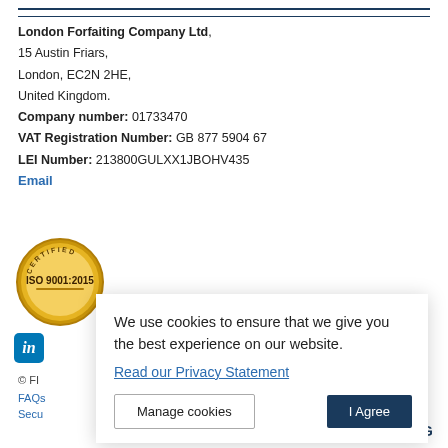London Forfaiting Company Ltd, 15 Austin Friars, London, EC2N 2HE, United Kingdom.
Company number: 01733470
VAT Registration Number: GB 877 5904 67
LEI Number: 213800GULXX1JBOHV435
Email
[Figure (illustration): Gold certified ISO 9001:2015 badge/seal]
[Figure (logo): LinkedIn icon - blue square with 'in' logo]
© FI...
FAQs
Secu...
We use cookies to ensure that we give you the best experience on our website.
Read our Privacy Statement
Manage cookies | I Agree
[Figure (logo): London Forfaiting logo at bottom right]